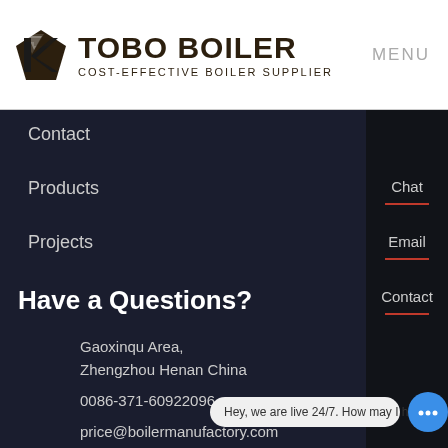[Figure (logo): Tobo Boiler logo with dark stylized kite/diamond icon and bold text 'TOBO BOILER' with subtitle 'COST-EFFECTIVE BOILER SUPPLIER']
MENU
Contact
Products
Projects
Have a Questions?
Gaoxinqu Area,
Zhengzhou Henan China
0086-371-60922096
price@boilermanufactory.com
Chat
Email
Contact
Hey, we are live 24/7. How may I help you?